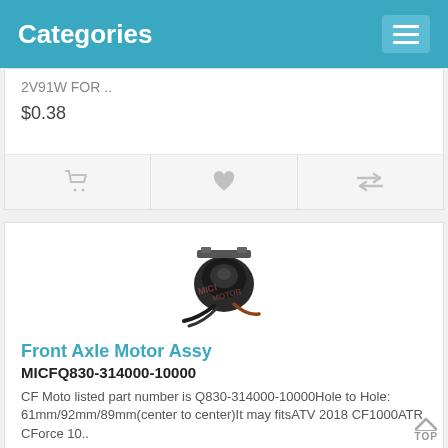Categories
2V91W FOR ..
$0.38
[Figure (screenshot): Product image of Front Axle Motor Assy - a small black motor component with wires]
Front Axle Motor Assy MICFQ830-314000-10000
CF Moto listed part number is Q830-314000-10000Hole to Hole: 61mm/92mm/89mm(center to center)It may fitsATV  2018 CF1000ATR  CForce 10..
$71.00